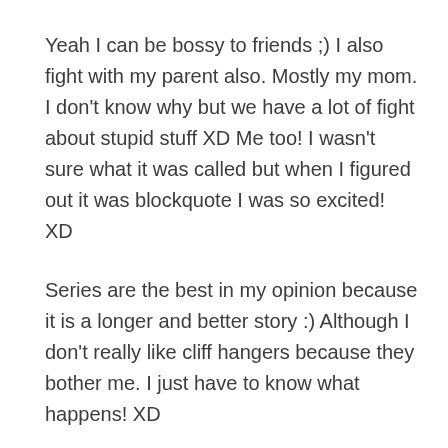Yeah I can be bossy to friends ;) I also fight with my parent also. Mostly my mom. I don't know why but we have a lot of fight about stupid stuff XD Me too! I wasn't sure what it was called but when I figured out it was blockquote I was so excited! XD
Series are the best in my opinion because it is a longer and better story :) Although I don't really like cliff hangers because they bother me. I just have to know what happens! XD
Yeah it keeps switching my URL but now it is one Cloud Kisses :P Why do people have to be so rude? It's not hard to at least comment one thing about the blog. I do that sometimes when I can't think of a